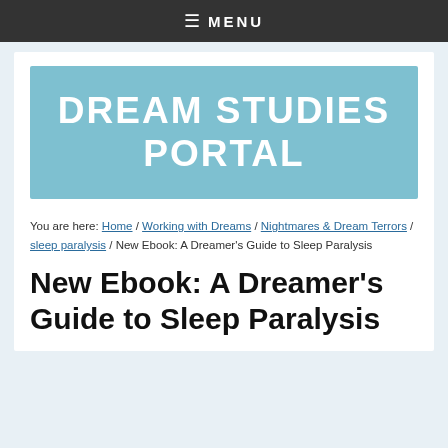≡ MENU
[Figure (logo): Dream Studies Portal logo — large white bold text on light blue background reading 'DREAM STUDIES PORTAL']
You are here: Home / Working with Dreams / Nightmares & Dream Terrors / sleep paralysis / New Ebook: A Dreamer's Guide to Sleep Paralysis
New Ebook: A Dreamer's Guide to Sleep Paralysis